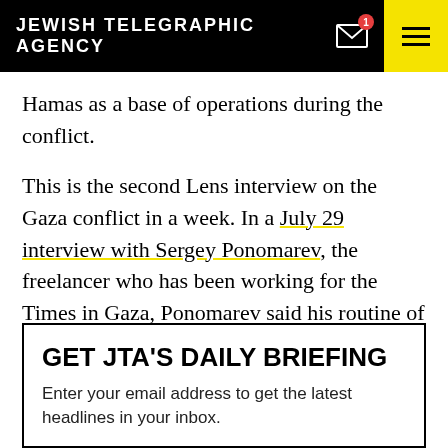JEWISH TELEGRAPHIC AGENCY
Hamas as a base of operations during the conflict.
This is the second Lens interview on the Gaza conflict in a week. In a July 29 interview with Sergey Ponomarev, the freelancer who has been working for the Times in Gaza, Ponomarev said his routine of taking photos was: destroyed houses, hospitals, funerals — then more destroyed houses.
GET JTA'S DAILY BRIEFING
Enter your email address to get the latest headlines in your inbox.